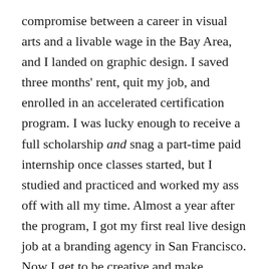compromise between a career in visual arts and a livable wage in the Bay Area, and I landed on graphic design. I saved three months' rent, quit my job, and enrolled in an accelerated certification program. I was lucky enough to receive a full scholarship and snag a part-time paid internship once classes started, but I studied and practiced and worked my ass off with all my time. Almost a year after the program, I got my first real live design job at a branding agency in San Francisco. Now I get to be creative and make beautiful things at my job, and have increased my old salary by $40k. Big risks, big rewards!
While I'm a strong believer in following your passion, I'm going to acknowledge that we're